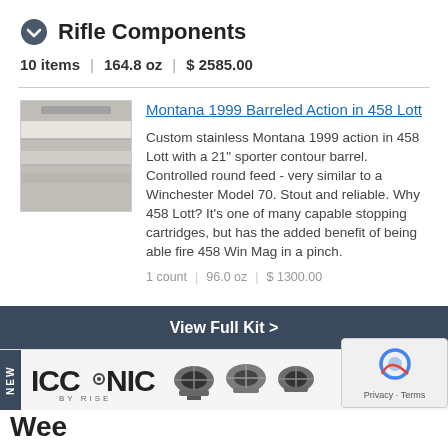Rifle Components
10 items  |  164.8 oz  |  $ 2585.00
Montana 1999 Barreled Action in 458 Lott
[Figure (photo): Photo of a Montana 1999 Barreled Action rifle component]
Custom stainless Montana 1999 action in 458 Lott with a 21" sporter contour barrel. Controlled round feed - very similar to a Winchester Model 70. Stout and reliable. Why 458 Lott? It's one of many capable stopping cartridges, but has the added benefit of being able fire 458 Win Mag in a pinch.
1 count  |  96.0 oz  |  $ 1300.00
View Full Kit >
[Figure (advertisement): ICONIC BY RISE advertisement banner with NEW tag and rifle component images]
Weel